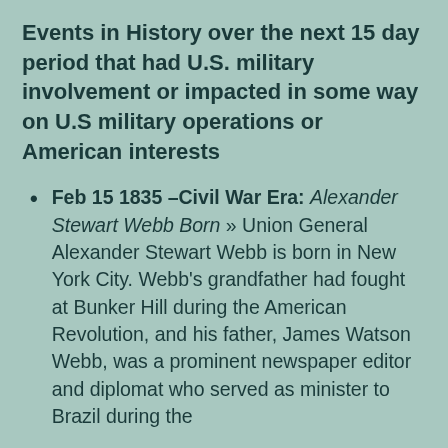Events in History over the next 15 day period that had U.S. military involvement or impacted in some way on U.S military operations or American interests
Feb 15 1835 –Civil War Era: Alexander Stewart Webb Born » Union General Alexander Stewart Webb is born in New York City. Webb's grandfather had fought at Bunker Hill during the American Revolution, and his father, James Watson Webb, was a prominent newspaper editor and diplomat who served as minister to Brazil during the